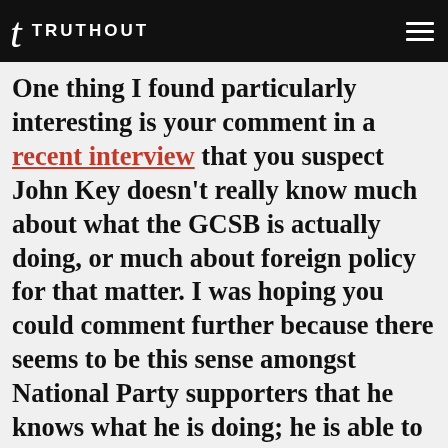TRUTHOUT
One thing I found particularly interesting is your comment in a recent interview that you suspect John Key doesn’t really know much about what the GCSB is actually doing, or much about foreign policy for that matter. I was hoping you could comment further because there seems to be this sense amongst National Party supporters that he knows what he is doing; he is able to make the right decisions for us – and I think a good example is the recent case where he will send our troops to go to Iraq